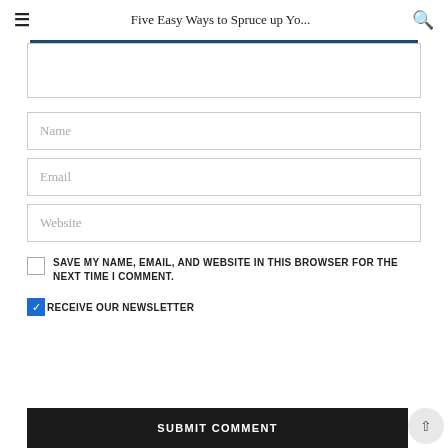Five Easy Ways to Spruce up Yo...
Name
Email
Website
SAVE MY NAME, EMAIL, AND WEBSITE IN THIS BROWSER FOR THE NEXT TIME I COMMENT.
RECEIVE OUR NEWSLETTER
SUBMIT COMMENT